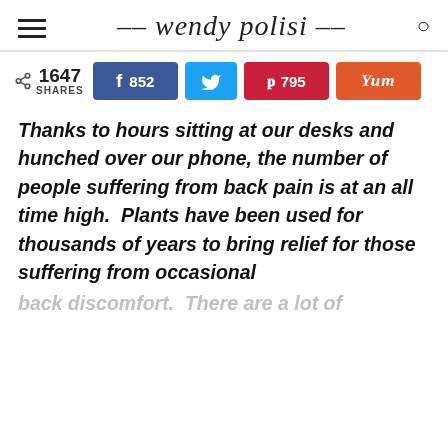wendy polisi
1647 SHARES  f 852  [twitter]  p 795  Yum
Thanks to hours sitting at our desks and hunched over our phone, the number of people suffering from back pain is at an all time high.  Plants have been used for thousands of years to bring relief for those suffering from occasional back discomfort.  There are a lot of